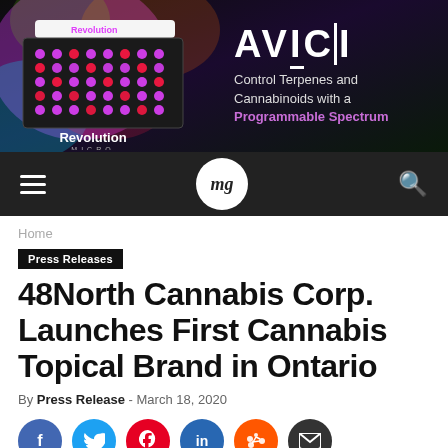[Figure (photo): Revolution Micro LED grow light panel advertisement banner with colorful spectrum background and AVICI branding. Text: Revolution Micro - Control Terpenes and Cannabinoids with a Programmable Spectrum]
mg (magazine logo) - navigation bar with hamburger menu and search icon
Home
Press Releases
48North Cannabis Corp. Launches First Cannabis Topical Brand in Ontario
By Press Release - March 18, 2020
[Figure (infographic): Social media sharing buttons: Facebook, Twitter, Pinterest, LinkedIn, Reddit, Email]